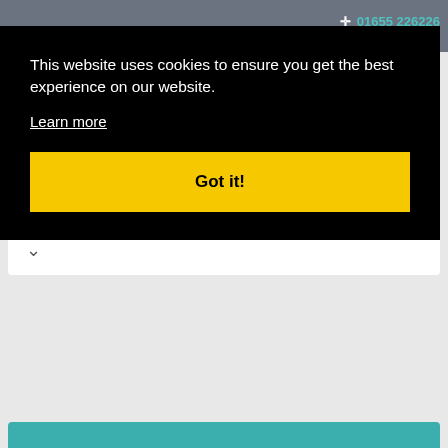01655 226226
This website uses cookies to ensure you get the best experience on our website.
Learn more
Got it!
Quote Request List
When you have added something to your 'Enquiry List' it will appear below, ready for you to submit to us.